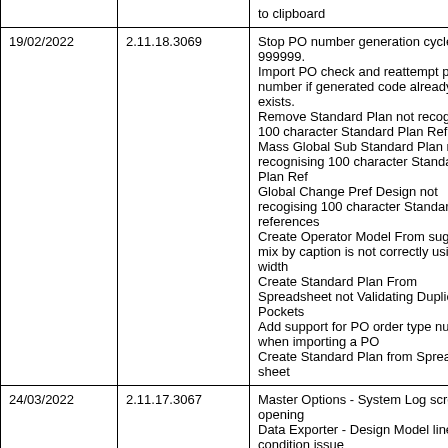| Date | Version | Description |
| --- | --- | --- |
|  |  | to clipboard |
| 19/02/2022 | 2.11.18.3069 | Stop PO number generation cycles at 999999.
Import PO check and reattempt po number if generated code already exists.
Remove Standard Plan not recognising 100 character Standard Plan Ref
Mass Global Sub Standard Plan not recognising 100 character Standard Plan Ref
Global Change Pref Design not recogising 100 character Standard plan references
Create Operator Model From suggested mix by caption is not correctly using the width
Create Standard Plan From Spreadsheet not Validating Duplicate Pockets
Add support for PO order type numbers when importing a PO
Create Standard Plan from Spread sheet |
| 24/03/2022 | 2.11.17.3067 | Master Options - System Log screen not opening
Data Exporter - Design Model line Is In condition issue
Duplicate Standard Plan function not allowing more than 20 characters
Print Invoices - Set Print flag when using Old Batch option
Print settings not saving when printing standard plans.
Search Supplier - updated to use name
Search Style Codes - updated to use description |